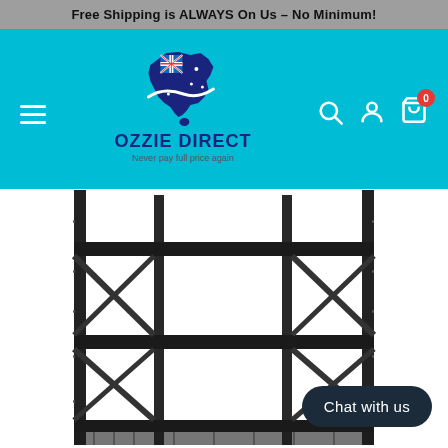Free Shipping is ALWAYS On Us - No Minimum!
[Figure (logo): Ozzie Direct logo with Australia map in navy blue with red/white Union Jack, with tagline 'Never pay full price again']
[Figure (photo): Black heavy-duty metal warehouse shelving/racking unit with multiple tiers, photographed against white background]
Chat with us